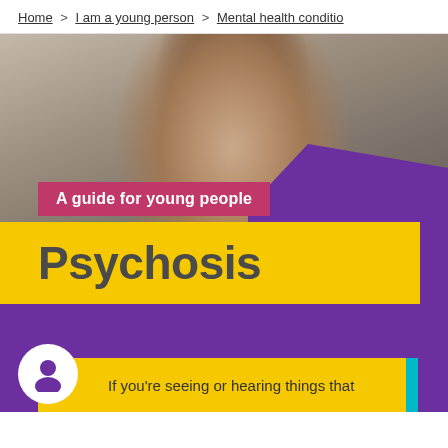Home > I am a young person > Mental health conditio
[Figure (photo): Photo of a young woman with long brown hair looking sideways, surrounded by other people, outdoors in an urban setting. Pink badge overlay reads 'A guide for young people'. Yellow block at bottom with large text 'Psychosis'. Purple decorative shape on right side.]
Psychosis
A guide for young people
[Figure (infographic): Purple section with a person icon (white circle with silhouette) and a yellow bar beginning the text 'If you're seeing or hearing things that']